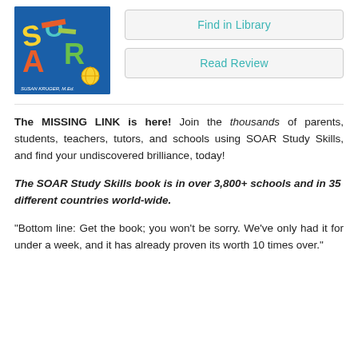[Figure (illustration): Book cover for SOAR Study Skills by Susan Kruger, M.Ed. — colorful letters S, O, A, R on a blue background]
Find in Library
Read Review
The MISSING LINK is here! Join the thousands of parents, students, teachers, tutors, and schools using SOAR Study Skills, and find your undiscovered brilliance, today!
The SOAR Study Skills book is in over 3,800+ schools and in 35 different countries world-wide.
“Bottom line: Get the book; you won’t be sorry. We’ve only had it for under a week, and it has already proven its worth 10 times over.”